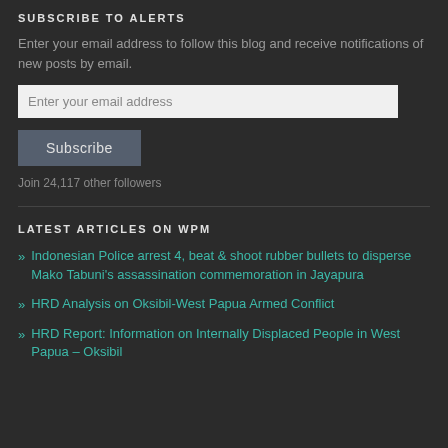SUBSCRIBE TO ALERTS
Enter your email address to follow this blog and receive notifications of new posts by email.
Enter your email address
Subscribe
Join 24,117 other followers
LATEST ARTICLES ON WPM
Indonesian Police arrest 4, beat & shoot rubber bullets to disperse Mako Tabuni's assassination commemoration in Jayapura
HRD Analysis on Oksibil-West Papua Armed Conflict
HRD Report: Information on Internally Displaced People in West Papua – Oksibil